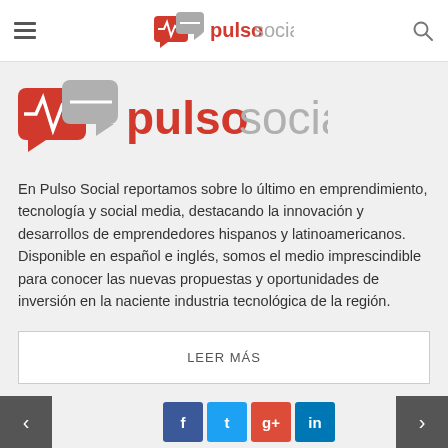pulsosocial navigation bar with hamburger menu, logo, and search icon
[Figure (logo): PulsoSocial logo: red speech bubble with heartbeat line icon and grey speech bubble, with text 'pulso' in red bold and 'social' in grey]
En Pulso Social reportamos sobre lo último en emprendimiento, tecnología y social media, destacando la innovación y desarrollos de emprendedores hispanos y latinoamericanos. Disponible en español e inglés, somos el medio imprescindible para conocer las nuevas propuestas y oportunidades de inversión en la naciente industria tecnológica de la región.
LEER MÁS
Eventos
Navigation arrows and social media buttons: Facebook, Twitter, Google+, LinkedIn